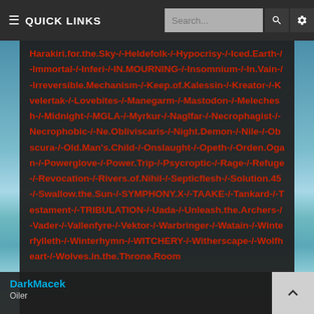QUICK LINKS  Search...
Harakiri.for.the.Sky-/-Heldefolk-/-Hypocrisy-/-Iced.Earth-/-Immortal-/-Inferi-/-IN.MOURNING-/-Insomnium-/-In.Vain-/-Irreversible.Mechanism-/-Keep.of.Kalessin-/-Kreator-/-Kvelertak-/-Lovebites-/-Manegarm-/-Mastodon-/-Melechesh-/-Midnight-/-MGLA-/-Myrkur-/-Naglfar-/-Necrophagist-/-Necrophobic-/-Ne.Obliviscaris-/-Night.Demon-/-Nile-/-Obscura-/-Old.Man's.Child-/-Onslaught-/-Opeth-/-Orden.Ogan-/-Powerglove-/-Power.Trip-/-Psycroptic-/-Rage-/-Refuge-/-Revocation-/-Rivers.of.Nihil-/-Septicflesh-/-Solution.45-/-Swallow.the.Sun-/-SYMPHONY.X-/-TAAKE-/-Tankard-/-Testament-/-TRIBULATION-/-Uada-/-Unleash.the.Archers-/-Vader-/-Vallenfyre-/-Vektor-/-Warbringer-/-Watain-/-Winterfylleth-/-Winterhymn-/-WITCHERY-/-Witherscape-/-Wolfheart-/-Wolves.in.the.Throne.Room
DarkMacek
Oiler